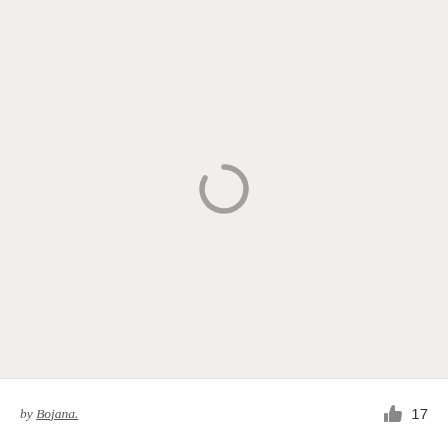[Figure (other): Loading spinner (partial circle arc) centered on a light gray background area, indicating content is loading.]
by Bojana.
17